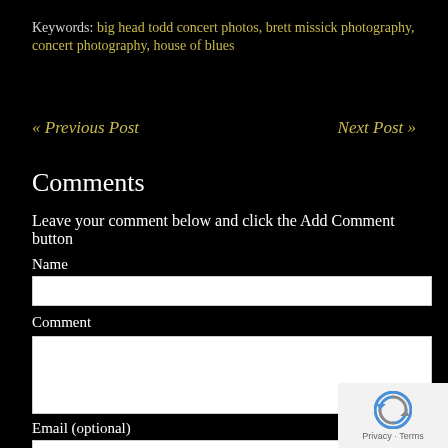Keywords: big head todd concert photos, brett missick photography, concert photography, house of blues
« Previous Post     Next Post »
Comments
Leave your comment below and click the Add Comment button
Name
Comment
Email (optional)